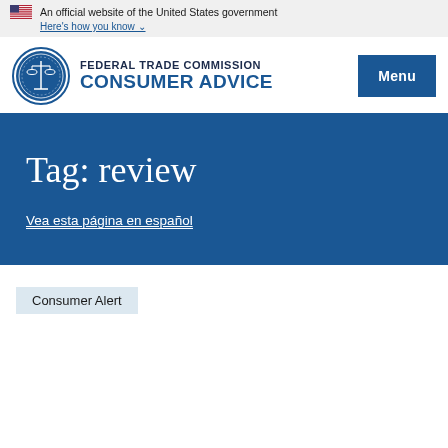An official website of the United States government
Here's how you know
[Figure (logo): Federal Trade Commission seal and Consumer Advice wordmark with Menu button]
Tag: review
Vea esta página en español
Consumer Alert